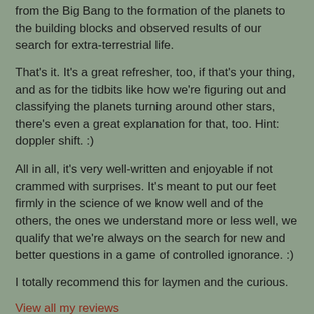from the Big Bang to the formation of the planets to the building blocks and observed results of our search for extra-terrestrial life.
That's it. It's a great refresher, too, if that's your thing, and as for the tidbits like how we're figuring out and classifying the planets turning around other stars, there's even a great explanation for that, too. Hint: doppler shift. :)
All in all, it's very well-written and enjoyable if not crammed with surprises. It's meant to put our feet firmly in the science of we know well and of the others, the ones we understand more or less well, we qualify that we're always on the search for new and better questions in a game of controlled ignorance. :)
I totally recommend this for laymen and the curious.
View all my reviews
Brad Horner at 1:04 PM    No comments:
Share